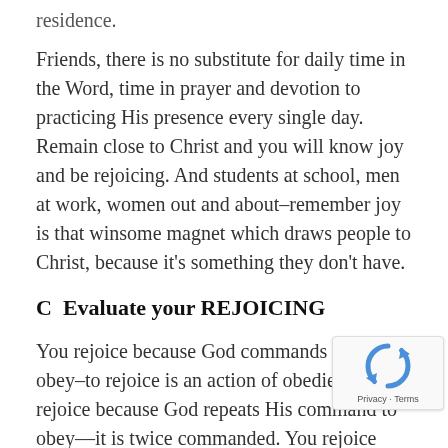residence.
Friends, there is no substitute for daily time in the Word, time in prayer and devotion to practicing His presence every single day. Remain close to Christ and you will know joy and be rejoicing. And students at school, men at work, women out and about–remember joy is that winsome magnet which draws people to Christ, because it's something they don't have.
C  Evaluate your REJOICING
You rejoice because God commands you to obey–to rejoice is an action of obedience. You rejoice because God repeats His command to obey—it is twice commanded. You rejoice because it is the church family together who are all to be rejoicing. You rejoice because when you're in the Lord you can help but rejoice.